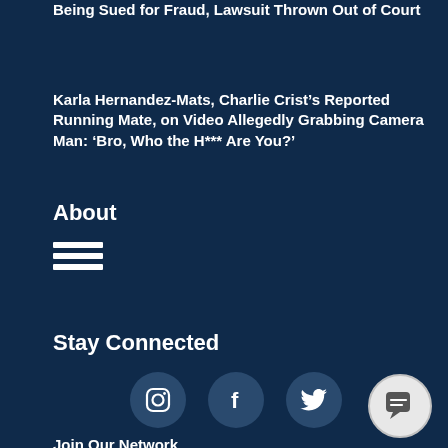Being Sued for Fraud, Lawsuit Thrown Out of Court
Karla Hernandez-Mats, Charlie Crist’s Reported Running Mate, on Video Allegedly Grabbing Camera Man: ‘Bro, Who the H*** Are You?’
About
[Figure (other): Hamburger menu icon with three horizontal bars]
Stay Connected
[Figure (other): Social media icons: Instagram, Facebook, Twitter circles, and a chat bubble icon]
Join Our Network